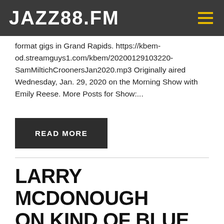JAZZ88.FM
format gigs in Grand Rapids. https://kbem-od.streamguys1.com/kbem/20200129103220-SamMiltichCroonersJan2020.mp3 Originally aired Wednesday, Jan. 29, 2020 on the Morning Show with Emily Reese. More Posts for Show:...
READ MORE
LARRY MCDONOUGH ON KIND OF BLUE